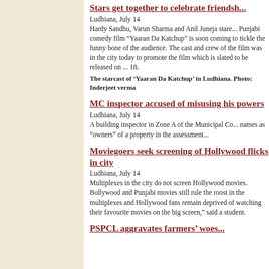Stars get together to celebrate friendsh...
Ludhiana, July 14
Hardy Sandhu, Varun Sharma and Anil Juneja stare... Punjabi comedy film “Yaaran Da Katchup” is soon coming to tickle the funny bone of the audience. The cast and crew of the film was in the city today to promote the film which is slated to be released on ... 18.
The starcast of ‘Yaaran Da Katchup’ in Ludhiana. Photo: Inderjeet verma
MC inspector accused of misusing his powers
Ludhiana, July 14
A building inspector in Zone A of the Municipal Co... names as “owners” of a property in the assessment...
Moviegoers seek screening of Hollywood flicks in city
Ludhiana, July 14
Multiplexes in the city do not screen Hollywood movies. Bollywood and Punjabi movies still rule the roost in the multiplexes and Hollywood fans remain deprived of watching their favourite movies on the big screen,” said a student.
PSPCL aggravates farmers’ woes...